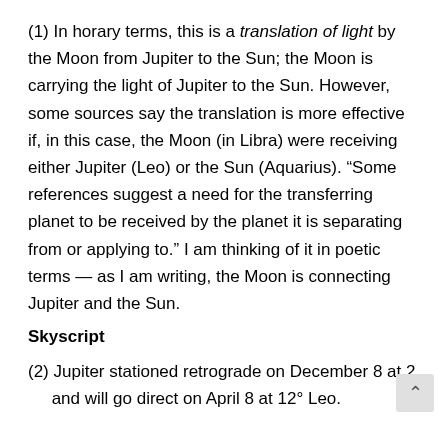(1) In horary terms, this is a translation of light by the Moon from Jupiter to the Sun; the Moon is carrying the light of Jupiter to the Sun. However, some sources say the translation is more effective if, in this case, the Moon (in Libra) were receiving either Jupiter (Leo) or the Sun (Aquarius). “Some references suggest a need for the transferring planet to be received by the planet it is separating from or applying to.” I am thinking of it in poetic terms — as I am writing, the Moon is connecting Jupiter and the Sun.
Skyscript
(2) Jupiter stationed retrograde on December 8 at 2° and will go direct on April 8 at 12° Leo.